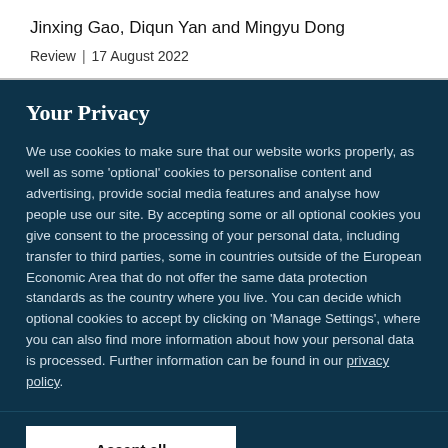Jinxing Gao, Diqun Yan and Mingyu Dong
Review | 17 August 2022
Your Privacy
We use cookies to make sure that our website works properly, as well as some ‘optional’ cookies to personalise content and advertising, provide social media features and analyse how people use our site. By accepting some or all optional cookies you give consent to the processing of your personal data, including transfer to third parties, some in countries outside of the European Economic Area that do not offer the same data protection standards as the country where you live. You can decide which optional cookies to accept by clicking on ‘Manage Settings’, where you can also find more information about how your personal data is processed. Further information can be found in our privacy policy.
Accept all cookies
Manage preferences